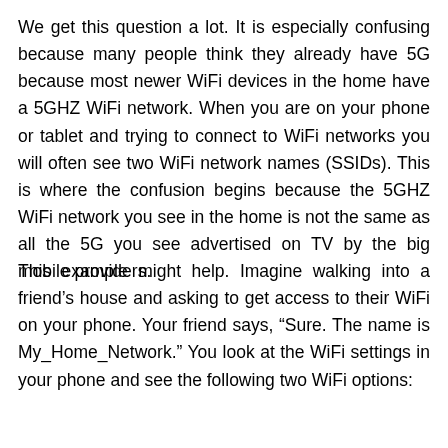We get this question a lot. It is especially confusing because many people think they already have 5G because most newer WiFi devices in the home have a 5GHZ WiFi network. When you are on your phone or tablet and trying to connect to WiFi networks you will often see two WiFi network names (SSIDs). This is where the confusion begins because the 5GHZ WiFi network you see in the home is not the same as all the 5G you see advertised on TV by the big mobile providers.
This example might help. Imagine walking into a friend's house and asking to get access to their WiFi on your phone. Your friend says, “Sure. The name is My_Home_Network.” You look at the WiFi settings in your phone and see the following two WiFi options: